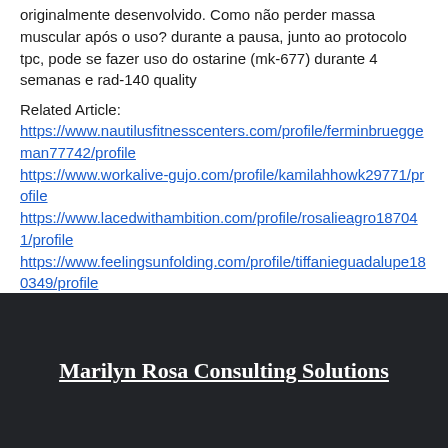originalmente desenvolvido. Como não perder massa muscular após o uso? durante a pausa, junto ao protocolo tpc, pode se fazer uso do ostarine (mk-677) durante 4 semanas e rad-140 quality
Related Article: https://www.nautilusfitnesscenters.com/profile/ferminbrueggeman77742/profile https://www.workalive-gujo.com/profile/kamilahhowk29771/profile https://www.lacedwithambition.com/profile/rosalieagro187041/profile https://www.feelingsunfolding.com/profile/tiffanieguadalupe180349/profile
Marilyn Rosa Consulting Solutions